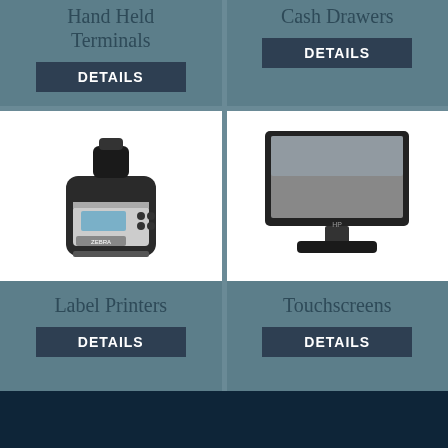Hand Held Terminals
DETAILS
Cash Drawers
DETAILS
[Figure (photo): Label printer device - portable Zebra-style label printer]
Label Printers
DETAILS
[Figure (photo): Touchscreen monitor - flat panel display with stand]
Touchscreens
DETAILS